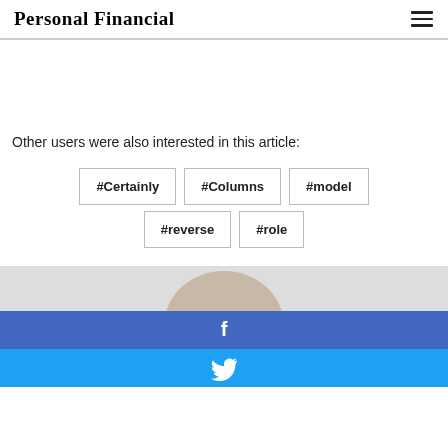Personal Financial
Other users were also interested in this article:
#Certainly
#Columns
#model
#reverse
#role
[Figure (photo): Partial photo of a person visible at bottom of page]
[Figure (infographic): Facebook share button bar (blue)]
[Figure (infographic): Twitter share button bar (light blue)]